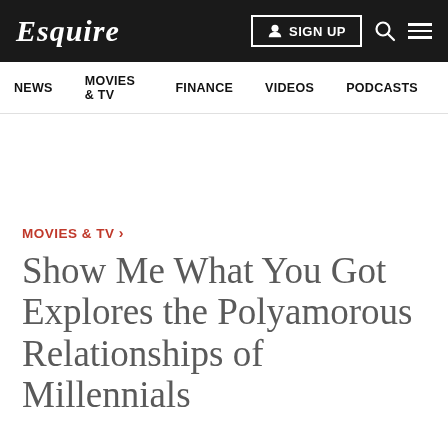Esquire
SIGN UP
NEWS   MOVIES & TV   FINANCE   VIDEOS   PODCASTS
MOVIES & TV ›
Show Me What You Got Explores the Polyamorous Relationships of Millennials